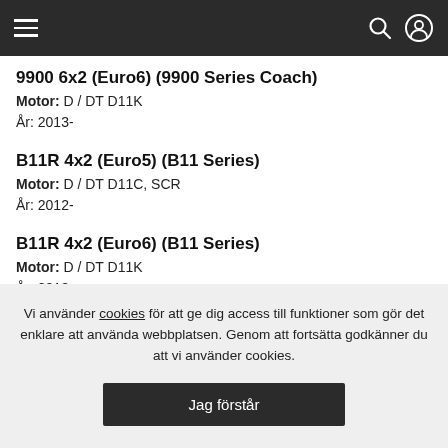Navigation bar with hamburger menu, search icon, and user icon
9900 6x2 (Euro6) (9900 Series Coach)
Motor: D / DT D11K
År: 2013-
B11R 4x2 (Euro5) (B11 Series)
Motor: D / DT D11C, SCR
År: 2012-
B11R 4x2 (Euro6) (B11 Series)
Motor: D / DT D11K
År: 2013-
B11R 6x2 (Euro5) (B11 Series)
M...
Å...
B...
M...
Å...
Vi använder cookies för att ge dig access till funktioner som gör det enklare att använda webbplatsen. Genom att fortsätta godkänner du att vi använder cookies.
Jag förstår